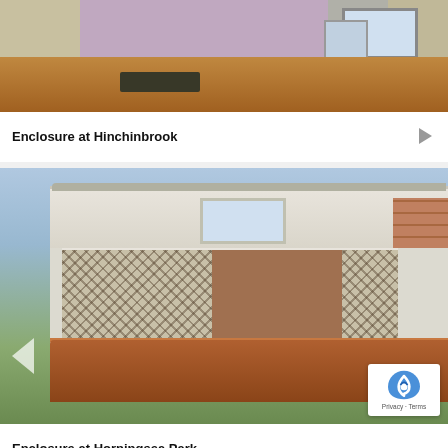[Figure (photo): Interior room photo showing a purple/mauve wall, a sliding glass door, a dark mat, and timber flooring — cropped top portion]
Enclosure at Hinchinbrook
[Figure (photo): Exterior photo of a patio/alfresco enclosure with cream-coloured aluminium framing, diamond-pattern screen sliding doors, open centre section revealing brick house wall, and a stained timber deck in the foreground. reCAPTCHA badge visible bottom right.]
Enclosure at Horningsea Park